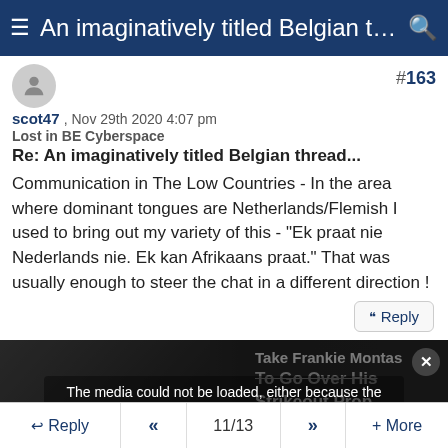≡ An imaginatively titled Belgian th... 🔍
#163
scot47 , Nov 29th 2020 4:07 pm
Lost in BE Cyberspace
Re: An imaginatively titled Belgian thread...
Communication in The Low Countries - In the area where dominant tongues are Netherlands/Flemish I used to bring out my variety of this - "Ek praat nie Nederlands nie. Ek kan Afrikaans praat." That was usually enough to steer the chat in a different direction !
[Figure (screenshot): Media player error overlay over a baseball pitcher image with sports article text: 'Take Frankie Montas To Go Over His Strikeout Prop Monday Vs. Angels'. Error message: 'The media could not be loaded, either because the server or network failed or because the format is not supported.']
↩ Reply  «  11/13  »  + More